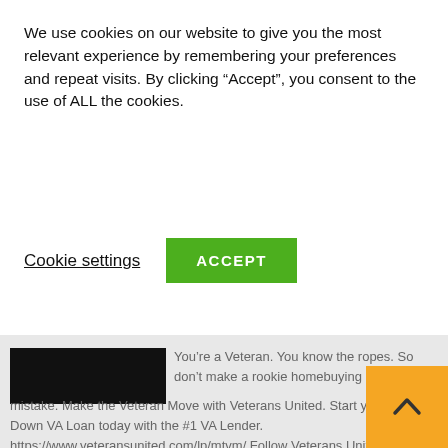We use cookies on our website to give you the most relevant experience by remembering your preferences and repeat visits. By clicking “Accept”, you consent to the use of ALL the cookies.
Cookie settings
ACCEPT
[Figure (photo): Black thumbnail image, partially obscured, from a video]
You’re a Veteran. You know the ropes. So don’t make a rookie homebuying mistake. Make the Veteran Move with Veterans United. Start your 0% Down VA Loan today with the #1 VA Lender. https://www.veteransunited.com/lp/mtvm/ Follow Veterans United Home Loans on social to see more Rob Riggle, Veteran [...]
[Figure (photo): Thumbnail image showing a person outdoors, from a video about Veterans United]
There’s Strength in Numbers | Make Veteran Move with Rob Riggle
In Home Loans
Veteran Move No. 31: There’s Strength in